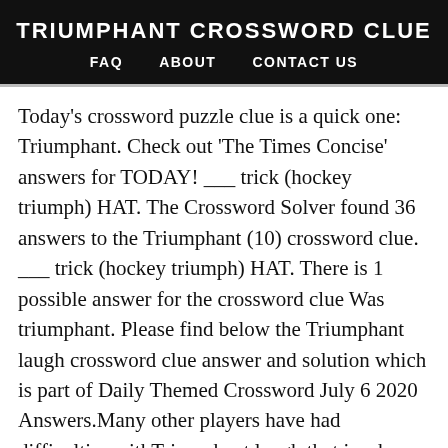TRIUMPHANT CROSSWORD CLUE
FAQ   ABOUT   CONTACT US
Today's crossword puzzle clue is a quick one: Triumphant. Check out 'The Times Concise' answers for TODAY! ___ trick (hockey triumph) HAT. The Crossword Solver found 36 answers to the Triumphant (10) crossword clue. ___ trick (hockey triumph) HAT. There is 1 possible answer for the crossword clue Was triumphant. Please find below the Triumphant laugh crossword clue answer and solution which is part of Daily Themed Crossword July 6 2020 Answers.Many other players have had difficulties withTriumphant laugh that is why